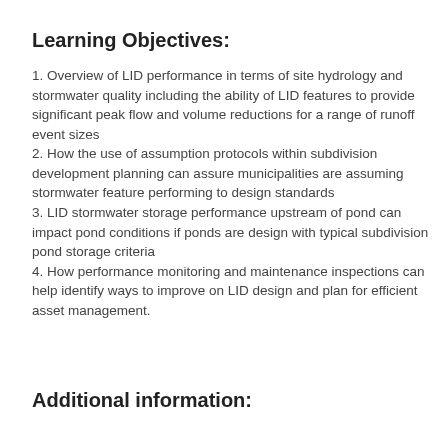Learning Objectives:
1. Overview of LID performance in terms of site hydrology and stormwater quality including the ability of LID features to provide significant peak flow and volume reductions for a range of runoff event sizes
2. How the use of assumption protocols within subdivision development planning can assure municipalities are assuming stormwater feature performing to design standards
3. LID stormwater storage performance upstream of pond can impact pond conditions if ponds are design with typical subdivision pond storage criteria
4. How performance monitoring and maintenance inspections can help identify ways to improve on LID design and plan for efficient asset management.
Additional information: